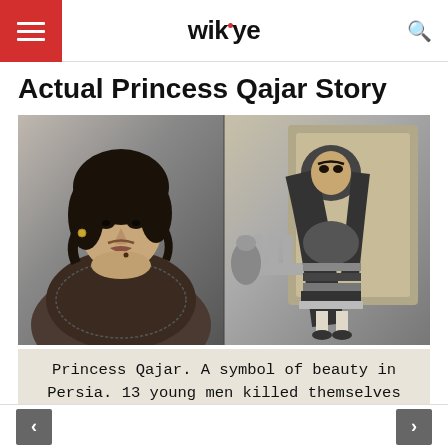wikye
Actual Princess Qajar Story
[Figure (photo): Two black-and-white historical photographs side by side: left shows a bust portrait of Princess Qajar with dark curly hair and jewelry; right shows a full-body standing portrait of a woman in traditional Persian attire with headscarf and decorated skirt]
Princess Qajar. A symbol of beauty in Persia. 13 young men killed themselves